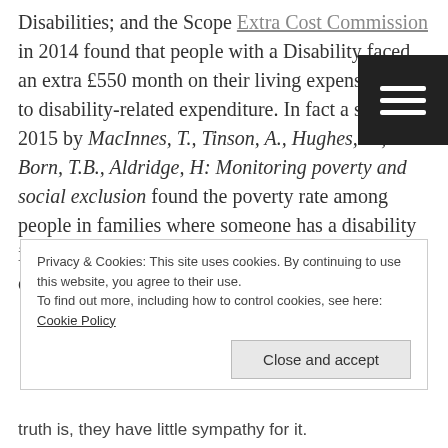Disabilities; and the Scope Extra Cost Commission in 2014 found that people with a Disability faced an extra £550 month on their living expenses due to disability-related expenditure. In fact a study in 2015 by MacInnes, T., Tinson, A., Hughes, C., Born, T.B., Aldridge, H: Monitoring poverty and social exclusion found the poverty rate among people in families where someone has a disability is 8% higher than of those in families where no one is disabled.
Privacy & Cookies: This site uses cookies. By continuing to use this website, you agree to their use.
To find out more, including how to control cookies, see here: Cookie Policy
Close and accept
truth is, they have little sympathy for it.